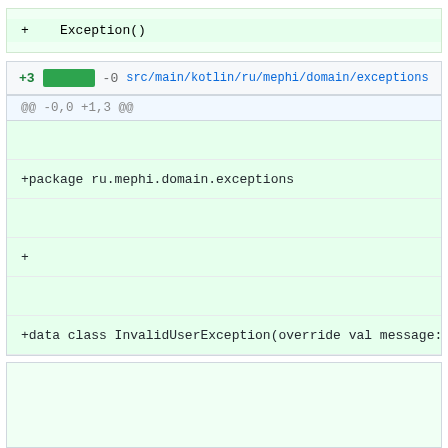+    Exception()
+3 -0  src/main/kotlin/ru/mephi/domain/exceptions/Inva
@@ -0,0 +1,3 @@
+package ru.mephi.domain.exceptions
+
+data class InvalidUserException(override val message: Stri